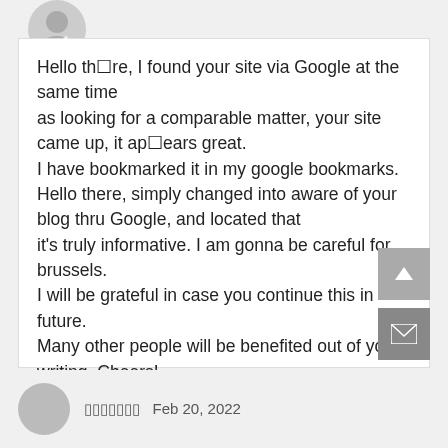Hello thꓳre, I found your site via Google at the same time as looking for a comparable matter, your site came up, it apꓵears great.
I have bookmarked it in my google bookmarks.
Hello there, simply changed into aware of your blog thru Google, and located that it's truly informative. I am gonna be careful for brussels.
I will be grateful in case you continue this in future.
Many other people will be benefited out of your writing. Cheers!
ꓒꓒꓒꓒꓒꓒꓒ   Feb 20, 2022